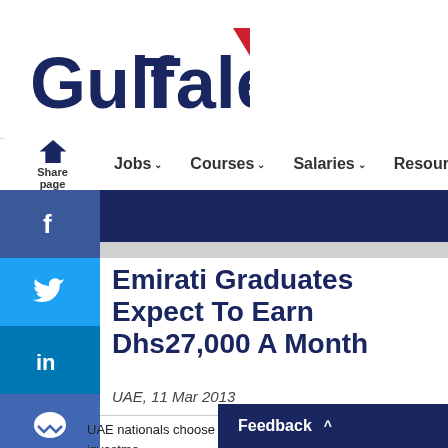[Figure (logo): GulfTalent logo with dark navy text and red accent triangle]
Jobs  Courses  Salaries  Resources
Share page
Emirati Graduates Expect To Earn Dhs27,000 A Month
UAE, 11 Mar 2013
UAE nationals choose public over private sector jobs with investment bank as employer of choice.
UAE nationals would choose to work for government rather than the private sector, with Mubadala the most...